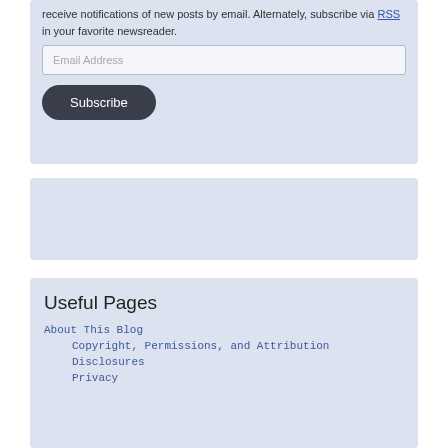receive notifications of new posts by email. Alternately, subscribe via RSS in your favorite newsreader.
[Figure (screenshot): Email Address input field]
[Figure (screenshot): Subscribe button (dark rounded rectangle)]
[Figure (other): Blank light blue-gray box (advertisement or widget placeholder)]
Useful Pages
About This Blog
Copyright, Permissions, and Attribution
Disclosures
Privacy